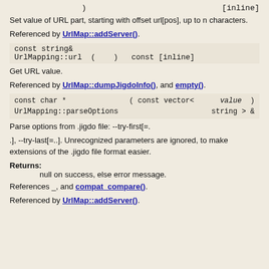)                                          [inline]
Set value of URL part, starting with offset url[pos], up to n characters.
Referenced by UrlMap::addServer().
const string& UrlMapping::url  (  )  const [inline]
Get URL value.
Referenced by UrlMap::dumpJigdoInfo(), and empty().
const char *  ( const vector<  value  )
UrlMapping::parseOptions        string > &
Parse options from .jigdo file: --try-first[=.
.], --try-last[=..]. Unrecognized parameters are ignored, to make extensions of the .jigdo file format easier.
Returns: null on success, else error message.
References _, and compat_compare().
Referenced by UrlMap::addServer().